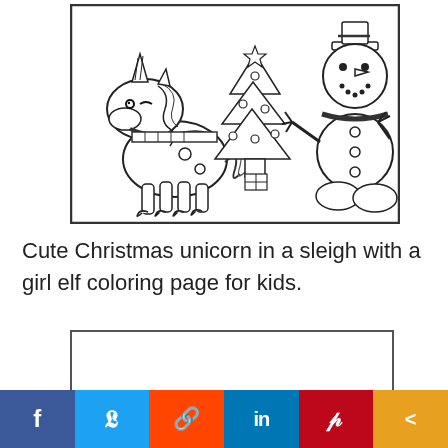[Figure (illustration): A coloring page showing a cute unicorn with a scarf and elf shoes, a decorated Christmas tree in the middle, and a snowman on the right, all drawn in black outline style ready for coloring.]
Cute Christmas unicorn in a sleigh with a girl elf coloring page for kids.
[Figure (other): Partially visible second coloring page image, showing only the top border and a white area.]